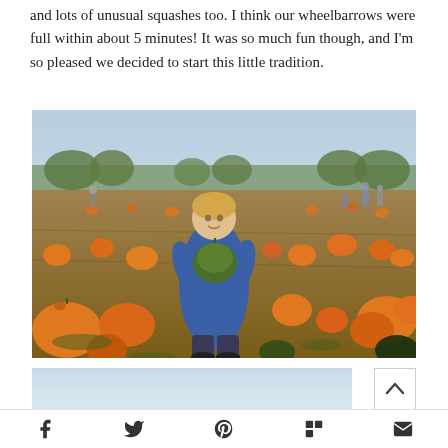and lots of unusual squashes too. I think our wheelbarrows were full within about 5 minutes! It was so much fun though, and I'm so pleased we decided to start this little tradition.
[Figure (photo): A young blonde toddler in a blue long-sleeve shirt stands in a large pumpkin field, holding a green/dark squash. Dozens of orange pumpkins are scattered across the brown field. In the background, other families can be seen picking pumpkins, with trees visible on the horizon under a clear blue-grey sky.]
[Figure (photo): Partial view of another photo, showing what appears to be a bright sky or outdoor scene, cropped at the bottom of the page.]